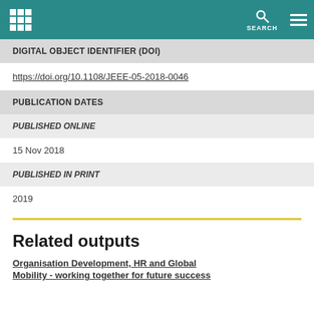SEARCH
DIGITAL OBJECT IDENTIFIER (DOI)
https://doi.org/10.1108/JEEE-05-2018-0046
PUBLICATION DATES
PUBLISHED ONLINE
15 Nov 2018
PUBLISHED IN PRINT
2019
Related outputs
Organisation Development, HR and Global Mobility - working together for future success